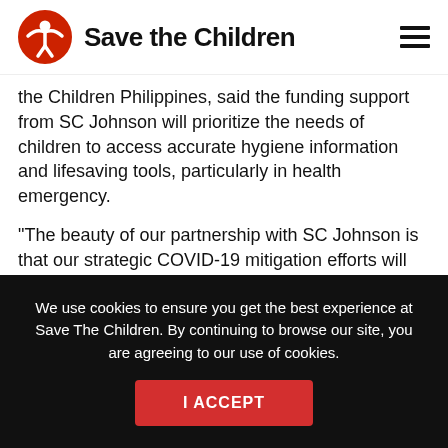Save the Children
the Children Philippines, said the funding support from SC Johnson will prioritize the needs of children to access accurate hygiene information and lifesaving tools, particularly in health emergency.
“The beauty of our partnership with SC Johnson is that our strategic COVID-19 mitigation efforts will also serve children and youth with disabilities who often face discrimination, deprivation of health services, and
We use cookies to ensure you get the best experience at Save The Children. By continuing to browse our site, you are agreeing to our use of cookies.